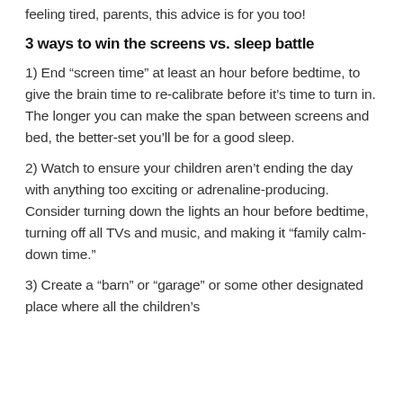feeling tired, parents, this advice is for you too!
3 ways to win the screens vs. sleep battle
1) End “screen time” at least an hour before bedtime, to give the brain time to re-calibrate before it’s time to turn in. The longer you can make the span between screens and bed, the better-set you’ll be for a good sleep.
2) Watch to ensure your children aren’t ending the day with anything too exciting or adrenaline-producing. Consider turning down the lights an hour before bedtime, turning off all TVs and music, and making it “family calm-down time.”
3) Create a “barn” or “garage” or some other designated place where all the children’s